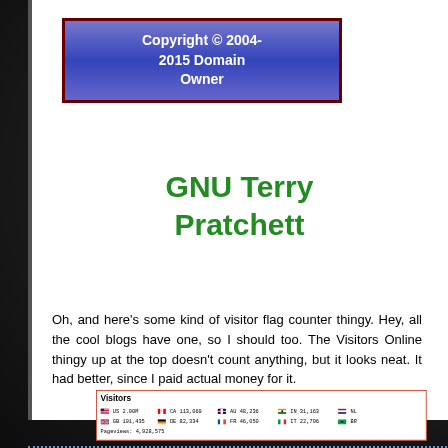Copyright © 2004-2015 Domain Owner
GNU Terry Pratchett
Oh, and here's some kind of visitor flag counter thingy. Hey, all the cool blogs have one, so I should too. The Visitors Online thingy up at the top doesn't count anything, but it looks neat. It had better, since I paid actual money for it.
| Country | Count |
| --- | --- |
| US | 2.00M |
| CA | 113,069 |
| AU | 48,236 |
| IN | 31,163 |
| NL |  |
| GB | 191,435 |
| DE | 82,334 |
| FR | 46,050 |
| IT | 22,706 |
| BR |  |
| Pageviews: | 4,928,575 |